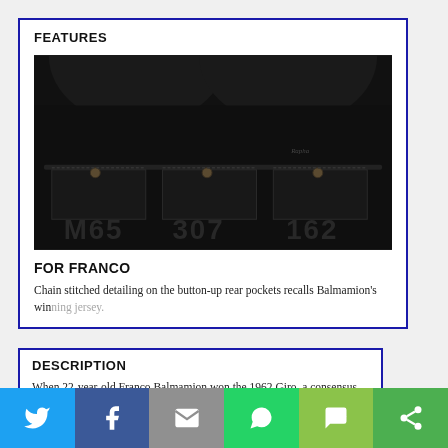FEATURES
[Figure (photo): Close-up photo of a dark navy/black cycling jersey showing button-up rear pockets with chain stitched detailing and small buttons. Numbers visible on the lower portion of the jersey.]
FOR FRANCO
Chain stitched detailing on the button-up rear pockets recalls Balmamion's winning jersey.
DESCRIPTION
When 22-year-old Franco Balmamion won the 1962 Giro, a consensus emerged that he'd been lucky. However, headed into the final Dolomite